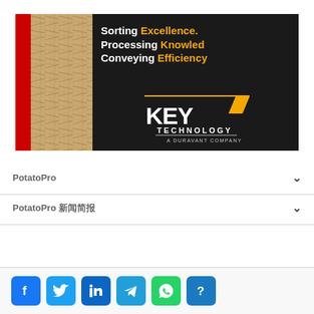[Figure (logo): Key Technology banner ad with photo of wood sticks, taglines 'Sorting Excellence. Processing Knowledge. Conveying Efficiency.' and KEY TECHNOLOGY logo, A DURAVANT COMPANY]
PotatoPro
PotatoPro 新闻简报
[Figure (infographic): Social media sharing icons: Facebook, Twitter, LinkedIn, Telegram, WhatsApp, and an unknown/question mark icon]